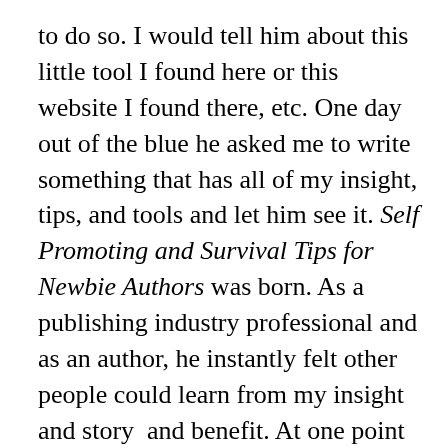to do so. I would tell him about this little tool I found here or this website I found there, etc. One day out of the blue he asked me to write something that has all of my insight, tips, and tools and let him see it. Self Promoting and Survival Tips for Newbie Authors was born. As a publishing industry professional and as an author, he instantly felt other people could learn from my insight and story  and benefit. At one point and time he was a newbie himself and made every possible mistake that a newbie could make and shared his insight and people benefited from him (like me). Any author out there was a newbie at one time. He wrote a very generous blog post about it. The